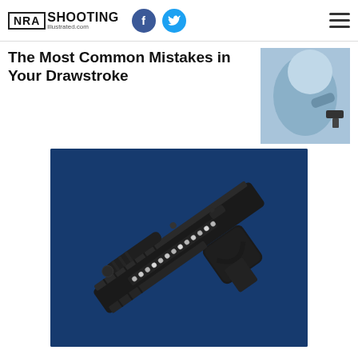NRA Shooting Illustrated.com
The Most Common Mistakes in Your Drawstroke
[Figure (photo): Thumbnail image of a person drawing a handgun from a holster, wearing a blue top]
[Figure (photo): Close-up photo of a black tactical firearm (Kel-Tec style pistol/carbine) with rail-mounted flashlight and rhinestone/bead decoration on the rail, on a dark blue background]